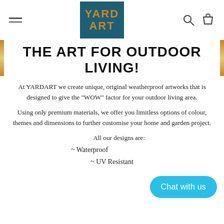YARD ART — navigation header with hamburger menu, logo, search and cart icons
THE ART FOR OUTDOOR LIVING!
At YARDART we create unique, original weatherproof artworks that is designed to give the "WOW" factor for your outdoor living area.
Using only premium materials, we offer you limitless options of colour, themes and dimensions to further customise your home and garden project.
All our designs are:
~ Waterproof
~ UV Resistant
[Figure (other): Chat with us button — rounded blue pill button in bottom right corner]